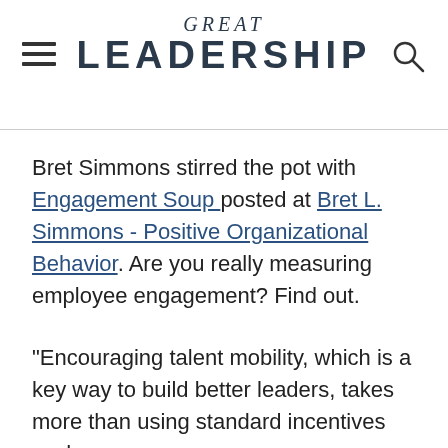GREAT LEADERSHIP
Bret Simmons stirred the pot with Engagement Soup  posted at Bret L. Simmons - Positive Organizational Behavior. Are you really measuring employee engagement? Find out.
"Encouraging talent mobility, which is a key way to build better leaders, takes more than using standard incentives such